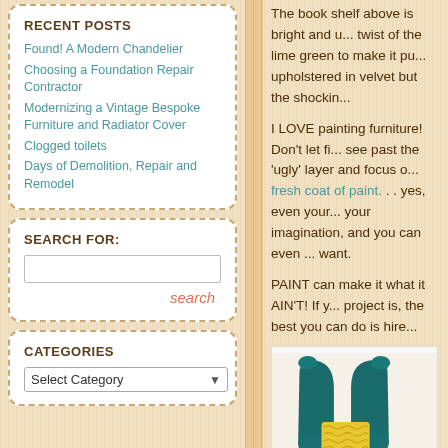RECENT POSTS
Found! A Modern Chandelier
Choosing a Foundation Repair Contractor
Modernizing a Vintage Bespoke Furniture and Radiator Cover
Clogged toilets
Days of Demolition, Repair and Remodel
SEARCH FOR:
search
CATEGORIES
Select Category
The book shelf above is bright and u... twist of the lime green to make it pu... upholstered in velvet but the shockin...
I LOVE painting furniture! Don't let fi... see past the 'ugly' layer and focus o... fresh coat of paint. . . yes, even your... your imagination, and you can even... want.
PAINT can make it what it AIN'T! If y... project is, the best you can do is hire...
[Figure (photo): Teal/dark green velvet armchair with yellow patterned cushion]